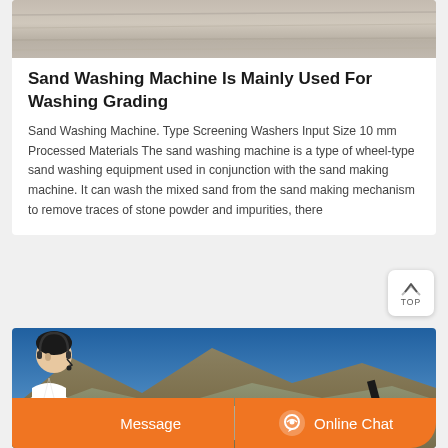[Figure (photo): Top portion of a sand/gravel surface photo, showing sandy terrain texture in grayscale/tan tones]
Sand Washing Machine Is Mainly Used For Washing Grading
Sand Washing Machine. Type Screening Washers Input Size 10 mm Processed Materials The sand washing machine is a type of wheel-type sand washing equipment used in conjunction with the sand making machine. It can wash the mixed sand from the sand making mechanism to remove traces of stone powder and impurities, there
[Figure (photo): Mountain landscape with blue sky, rocky hillside terrain, and heavy equipment (conveyor/screening machine) visible on the right side. Customer service representative with headset overlaid at bottom left. Orange chat bar at bottom with Message and Online Chat buttons.]